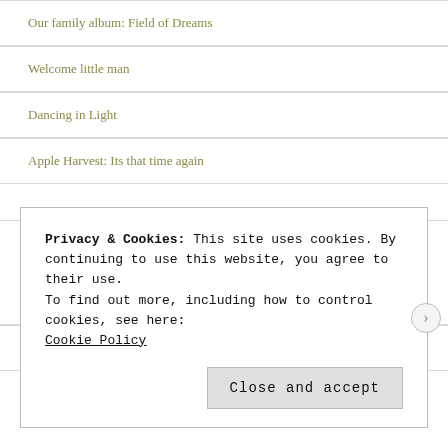Our family album: Field of Dreams
Welcome little man
Dancing in Light
Apple Harvest: Its that time again
BLOGROLL
Antenatal and Baby
Baby Dump
Privacy & Cookies: This site uses cookies. By continuing to use this website, you agree to their use.
To find out more, including how to control cookies, see here:
Cookie Policy
Close and accept